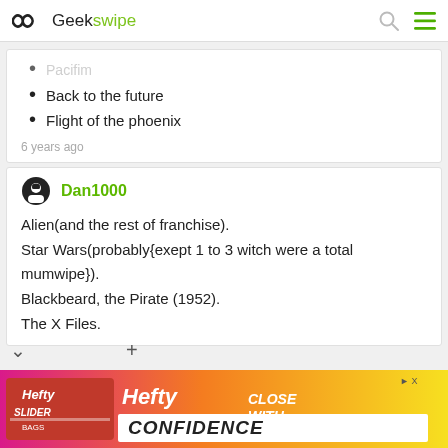Geekswipe
Pacifim
Back to the future
Flight of the phoenix
6 years ago
Dan1000
Alien(and the rest of franchise).
Star Wars(probably{exept 1 to 3 witch were a total mumwipe}).
Blackbeard, the Pirate (1952).
The X Files.
[Figure (other): Advertisement banner for Hefty Slider bags with text CLOSE WITH CONFIDENCE]